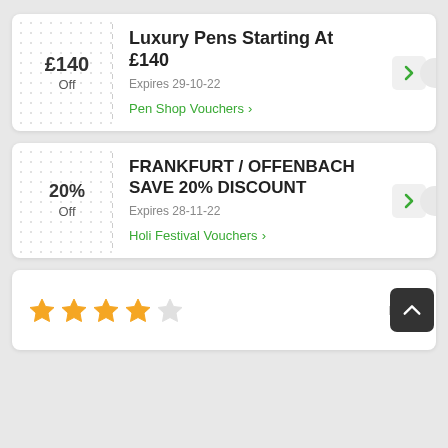[Figure (other): Coupon card: £140 Off — Luxury Pens Starting At £140, Expires 29-10-22, Pen Shop Vouchers link with arrow button]
[Figure (other): Coupon card: 20% Off — FRANKFURT / OFFENBACH SAVE 20% DISCOUNT, Expires 28-11-22, Holi Festival Vouchers link with arrow button and back-to-top button]
[Figure (other): Partial card at bottom showing 4 stars (3 filled gold, 1 half, 1 empty) and Rate label]